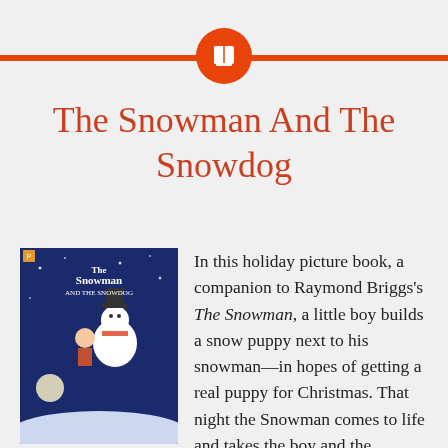[Figure (illustration): Orange circle icon with white book symbol, centered on an orange horizontal bar at the top of the page]
The Snowman And The Snowdog
[Figure (photo): Book cover of 'The Snowman and the Snowdog' showing a boy and snowman flying over a snowy landscape at night]
In this holiday picture book, a companion to Raymond Briggs's The Snowman, a little boy builds a snow puppy next to his snowman—in hopes of getting a real puppy for Christmas. That night the Snowman comes to life and takes the boy and the Snowdog on an adventure to the world of Snow People. But the best is yet to come on Christmas morning, when